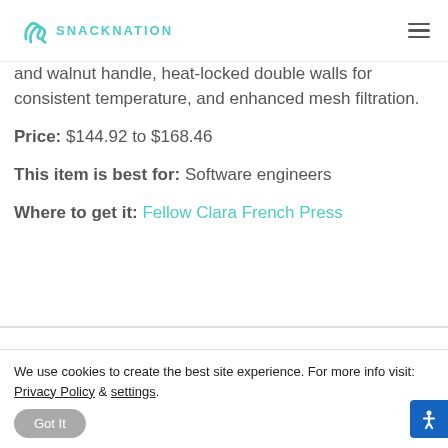SNACKNATION
and walnut handle, heat-locked double walls for consistent temperature, and enhanced mesh filtration.
Price: $144.92 to $168.46
This item is best for: Software engineers
Where to get it: Fellow Clara French Press
We use cookies to create the best site experience. For more info visit: Privacy Policy & settings.